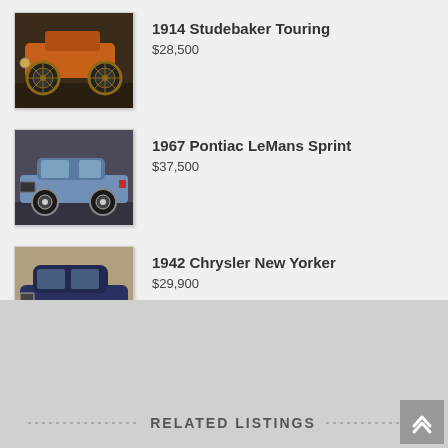1914 Studebaker Touring
$28,500
1967 Pontiac LeMans Sprint
$37,500
1942 Chrysler New Yorker
$29,900
RELATED LISTINGS